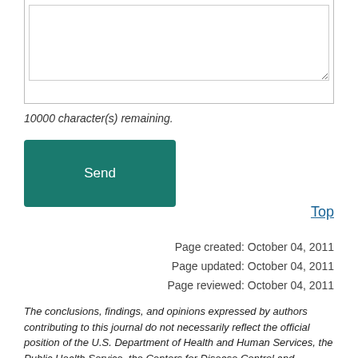[Figure (screenshot): Textarea input box (form element) with a resize handle, part of a bordered form area]
10000 character(s) remaining.
[Figure (screenshot): Green 'Send' button]
Top
Page created: October 04, 2011
Page updated: October 04, 2011
Page reviewed: October 04, 2011
The conclusions, findings, and opinions expressed by authors contributing to this journal do not necessarily reflect the official position of the U.S. Department of Health and Human Services, the Public Health Service, the Centers for Disease Control and Prevention, or the authors' affiliated institutions. Use of trade names is for identification only and does not imply